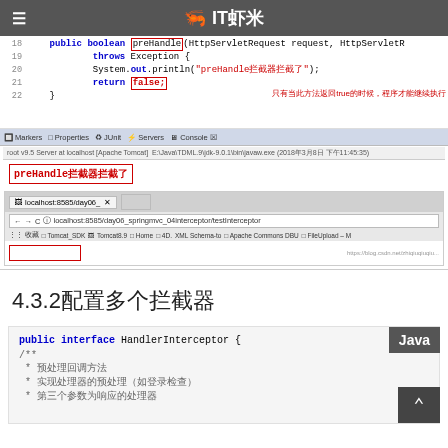IT虾米
[Figure (screenshot): Java code editor screenshot showing preHandle method returning false, with Eclipse IDE console output showing 'preHandle拦截器拦截了', and a Chrome browser showing empty page at localhost:8585/day06_springmvc_04interceptor/testInterceptor]
4.3.2配置多个拦截器
[Figure (screenshot): Java code snippet showing public interface HandlerInterceptor with Javadoc comments]